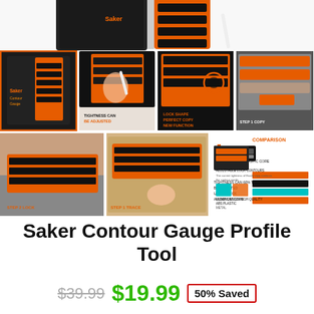[Figure (photo): Partial hero image of Saker Contour Gauge product box and orange gauge tool, cropped at top]
[Figure (photo): Grid of product thumbnail images showing the Saker Contour Gauge from multiple angles and in use, with text overlays: TIGHTNESS CAN BE ADJUSTED, LOCK SHAPE PERFECT COPY NEW FUNCTION, COMPARISON, STEP 2 LOCK, STEP 1 TRACE]
Saker Contour Gauge Profile Tool
$39.99  $19.99  50% Saved